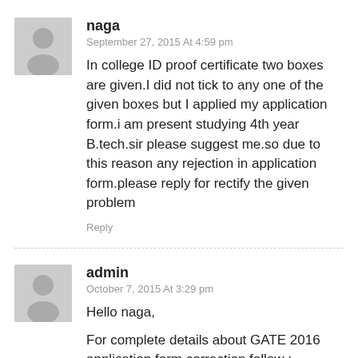naga
September 27, 2015 At 4:59 pm
In college ID proof certificate two boxes are given.I did not tick to any one of the given boxes but I applied my application form.i am present studying 4th year B.tech.sir please suggest me.so due to this reason any rejection in application form.please reply for rectify the given problem
Reply
admin
October 7, 2015 At 3:29 pm
Hello naga,
For complete details about GATE 2016 application form correction follow :
http://www.gate2016.info/gate-2016-